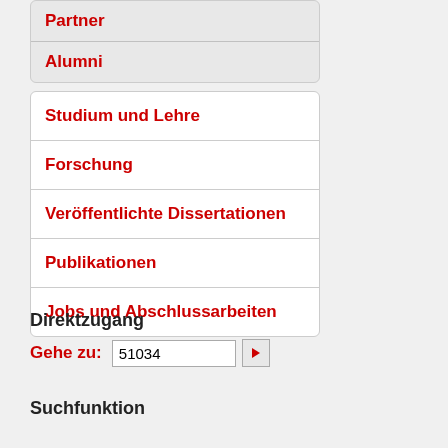Partner
Alumni
Studium und Lehre
Forschung
Veröffentlichte Dissertationen
Publikationen
Jobs und Abschlussarbeiten
Direktzugang
Gehe zu: 51034
Suchfunktion